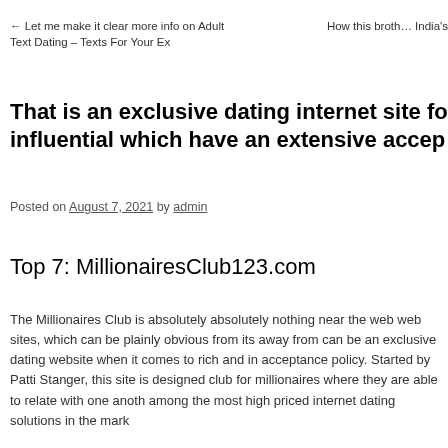← Let me make it clear more info on Adult Text Dating – Texts For Your Ex    How this broth… India€™s
That is an exclusive dating internet site fo… influential which have an extensive accep…
Posted on August 7, 2021 by admin
Top 7: MillionairesClub123.com
The Millionaires Club is absolutely absolutely nothing near the web web sites, which can be plainly obvious from its away from… can be an exclusive dating website when it comes to rich and in… acceptance policy. Started by Patti Stanger, this site is designed… club for millionaires where they are able to relate with one anoth… among the most high priced internet dating solutions in the mar…